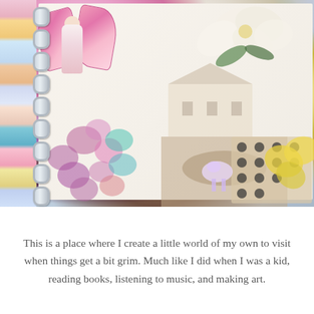[Figure (photo): A close-up photograph of an open spiral-bound art journal or scrapbook. The pages are filled with colorful mixed-media collage elements including a fairy figure with pink butterfly wings, large white hibiscus flowers, a vintage house illustration, dense floral patterns in pink, teal, and purple, a scenic path illustration, a colorful deer/cow sticker, a polka-dot text card, and yellow pansy flowers. The left side shows a colorful washi tape strip and metal spiral binding rings.]
This is a place where I create a little world of my own to visit when things get a bit grim. Much like I did when I was a kid, reading books, listening to music, and making art.